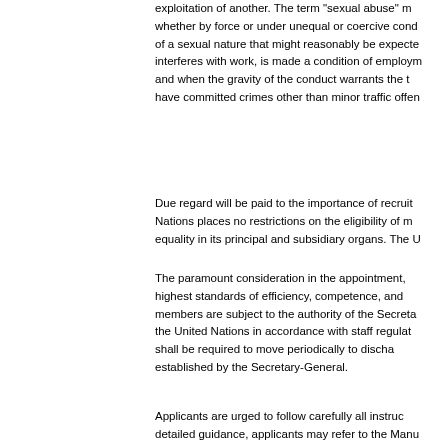exploitation of another. The term "sexual abuse" m whether by force or under unequal or coercive cond of a sexual nature that might reasonably be expecte interferes with work, is made a condition of employm and when the gravity of the conduct warrants the t have committed crimes other than minor traffic offen
Due regard will be paid to the importance of recruit Nations places no restrictions on the eligibility of m equality in its principal and subsidiary organs. The U
The paramount consideration in the appointment, highest standards of efficiency, competence, and members are subject to the authority of the Secreta the United Nations in accordance with staff regulat shall be required to move periodically to discha established by the Secretary-General.
Applicants are urged to follow carefully all instruc detailed guidance, applicants may refer to the Manu hyper-link on the upper right side of the inspira acco